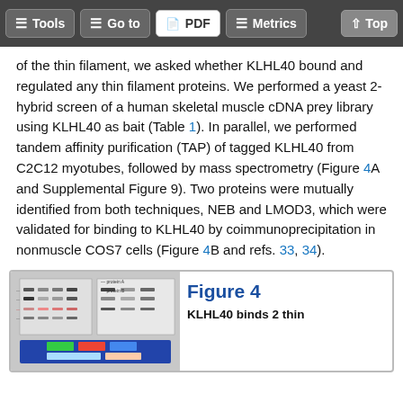Tools | Go to | PDF | Metrics | Top
human NM, which is thought to be a primary disease of the thin filament, we asked whether KLHL40 bound and regulated any thin filament proteins. We performed a yeast 2-hybrid screen of a human skeletal muscle cDNA prey library using KLHL40 as bait (Table 1). In parallel, we performed tandem affinity purification (TAP) of tagged KLHL40 from C2C12 myotubes, followed by mass spectrometry (Figure 4A and Supplemental Figure 9). Two proteins were mutually identified from both techniques, NEB and LMOD3, which were validated for binding to KLHL40 by coimmunoprecipitation in nonmuscle COS7 cells (Figure 4B and refs. 33, 34).
[Figure (photo): Western blot and gel image panels showing protein binding experiments for Figure 4]
Figure 4
KLHL40 binds 2 thin